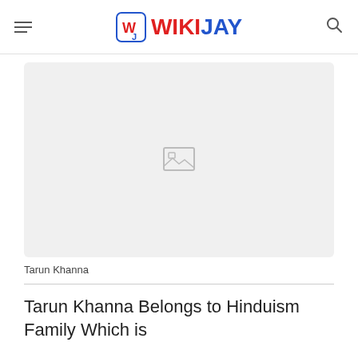WIKIJAY
[Figure (photo): Placeholder image box with a broken image icon in the center, light gray background]
Tarun Khanna
Tarun Khanna Belongs to Hinduism Family Which is